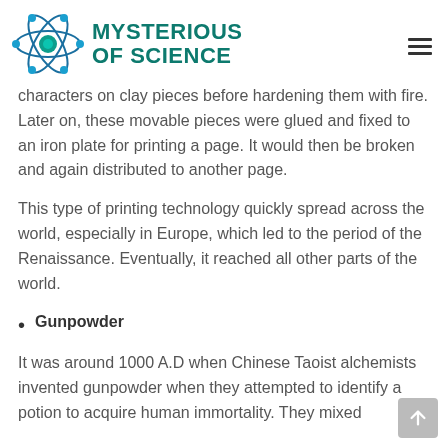MYSTERIOUS OF SCIENCE
characters on clay pieces before hardening them with fire. Later on, these movable pieces were glued and fixed to an iron plate for printing a page. It would then be broken and again distributed to another page.
This type of printing technology quickly spread across the world, especially in Europe, which led to the period of the Renaissance. Eventually, it reached all other parts of the world.
Gunpowder
It was around 1000 A.D when Chinese Taoist alchemists invented gunpowder when they attempted to identify a potion to acquire human immortality. They mixed